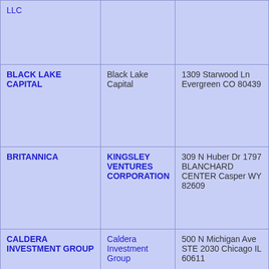| LLC |  |  |
| BLACK LAKE CAPITAL | Black Lake Capital | 1309 Starwood Ln Evergreen CO 80439 |
| BRITANNICA | KINGSLEY VENTURES CORPORATION | 309 N Huber Dr 1797 BLANCHARD CENTER Casper WY 82609 |
| CALDERA INVESTMENT GROUP | Caldera Investment Group | 500 N Michigan Ave STE 2030 Chicago IL 60611 |
| CANVAS VENTURES | Morgenthaler | 2710 Sand Hill Road, |